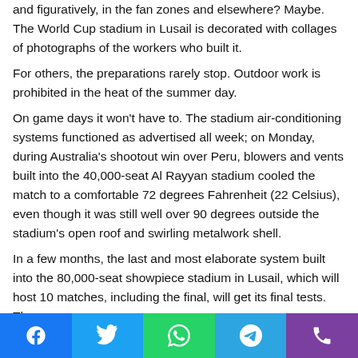and figuratively, in the fan zones and elsewhere? Maybe. The World Cup stadium in Lusail is decorated with collages of photographs of the workers who built it. For others, the preparations rarely stop. Outdoor work is prohibited in the heat of the summer day. On game days it won't have to. The stadium air-conditioning systems functioned as advertised all week; on Monday, during Australia's shootout win over Peru, blowers and vents built into the 40,000-seat Al Rayyan stadium cooled the match to a comfortable 72 degrees Fahrenheit (22 Celsius), even though it was still well over 90 degrees outside the stadium's open roof and swirling metalwork shell. In a few months, the last and most elaborate system built into the 80,000-seat showpiece stadium in Lusail, which will host 10 matches, including the final, will get its final tests. The
Social share buttons: Facebook, Twitter, WhatsApp, Telegram, Phone